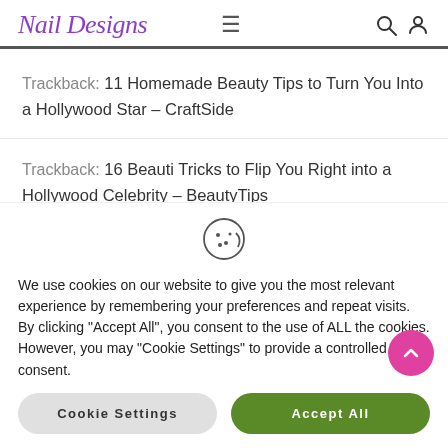Nail Designs
Trackback: 11 Homemade Beauty Tips to Turn You Into a Hollywood Star - CraftSide
Trackback: 16 Beauti Tricks to Flip You Right into a Hollywood Celebrity – BeautyTips
We use cookies on our website to give you the most relevant experience by remembering your preferences and repeat visits. By clicking “Accept All”, you consent to the use of ALL the cookies. However, you may “Cookie Settings” to provide a controlled consent.